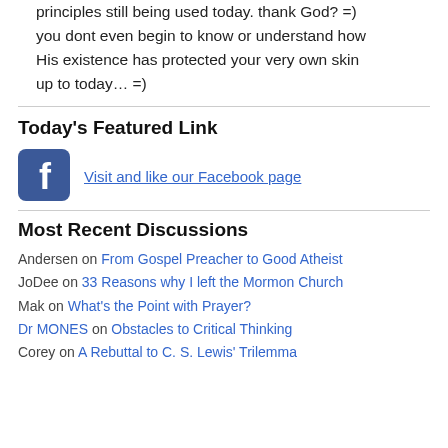principles still being used today. thank God? =) you dont even begin to know or understand how His existence has protected your very own skin up to today… =)
Today's Featured Link
[Figure (logo): Facebook logo icon, rounded blue square with white lowercase f]
Visit and like our Facebook page
Most Recent Discussions
Andersen on From Gospel Preacher to Good Atheist
JoDee on 33 Reasons why I left the Mormon Church
Mak on What's the Point with Prayer?
Dr MONES on Obstacles to Critical Thinking
Corey on A Rebuttal to C. S. Lewis' Trilemma